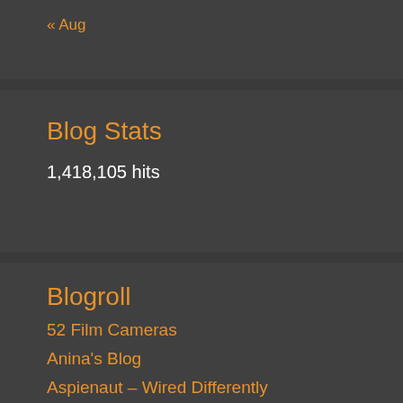« Aug
Blog Stats
1,418,105 hits
Blogroll
52 Film Cameras
Anina's Blog
Aspienaut – Wired Differently